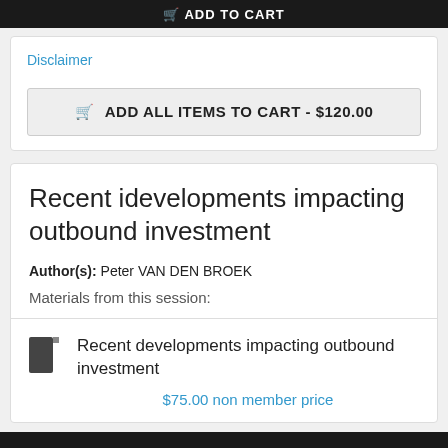ADD TO CART
Disclaimer
ADD ALL ITEMS TO CART - $120.00
Recent idevelopments impacting outbound investment
Author(s):  Peter VAN DEN BROEK
Materials from this session:
Recent developments impacting outbound investment
$75.00 non member price